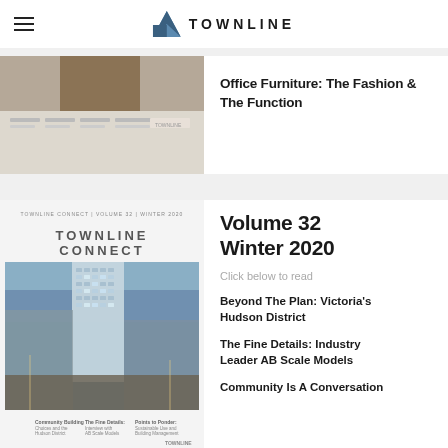TOWNLINE
[Figure (screenshot): Thumbnail preview of a Townline Connect newsletter issue about Office Furniture]
Office Furniture: The Fashion & The Function
[Figure (photo): Cover of Townline Connect Volume 32 Winter 2020 showing a tall glass residential tower in Victoria at dusk with city skyline]
Volume 32 Winter 2020
Click below to read
Beyond The Plan: Victoria’s Hudson District
The Fine Details: Industry Leader AB Scale Models
Community Is A Conversation